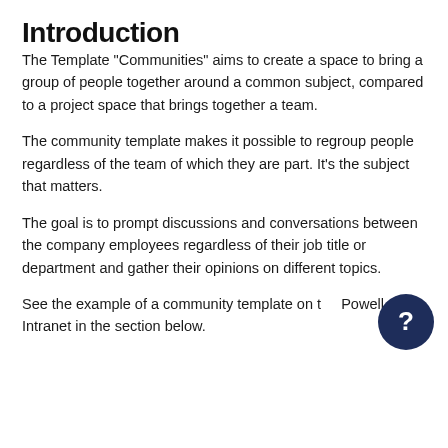Introduction
The Template "Communities" aims to create a space to bring a group of people together around a common subject, compared to a project space that brings together a team.
The community template makes it possible to regroup people regardless of the team of which they are part. It's the subject that matters.
The goal is to prompt discussions and conversations between the company employees regardless of their job title or department and gather their opinions on different topics.
See the example of a community template on the Powell Intranet in the section below.
[Figure (other): Dark navy circular help button with white question mark icon]